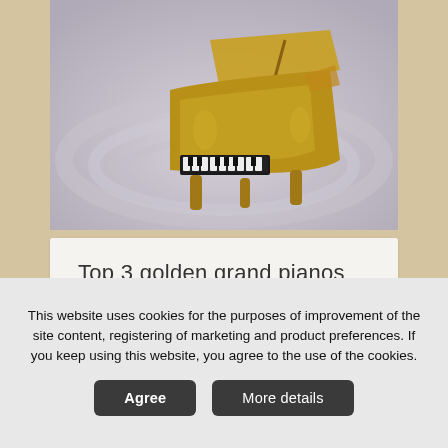[Figure (photo): Ornate golden grand piano on grey swirling background]
Top 3 golden grand pianos
26.08.2022
[Figure (photo): Two figures with elaborate golden headpieces in a dark concert hall setting]
This website uses cookies for the purposes of improvement of the site content, registering of marketing and product preferences. If you keep using this website, you agree to the use of the cookies.
Agree
More details